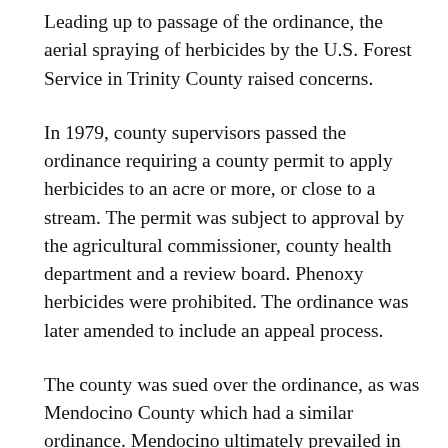Leading up to passage of the ordinance, the aerial spraying of herbicides by the U.S. Forest Service in Trinity County raised concerns.
In 1979, county supervisors passed the ordinance requiring a county permit to apply herbicides to an acre or more, or close to a stream. The permit was subject to approval by the agricultural commissioner, county health department and a review board. Phenoxy herbicides were prohibited. The ordinance was later amended to include an appeal process.
The county was sued over the ordinance, as was Mendocino County which had a similar ordinance. Mendocino ultimately prevailed in the state Supreme Court. However, that victory was quickly followed by passage of state legislation in 1984 that said the state, not local governments, has the authority to regulate...